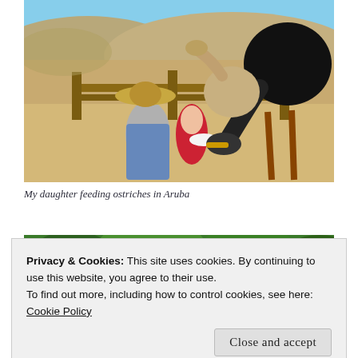[Figure (photo): A man in a wide-brimmed hat and a young girl in a red dress feeding ostriches at a farm in Aruba. A large black-and-white ostrich leans in from the right. Sandy, arid landscape with wooden fence rails in background.]
My daughter feeding ostriches in Aruba
[Figure (photo): Partially visible photo showing lush green tropical foliage at top of frame.]
Privacy & Cookies: This site uses cookies. By continuing to use this website, you agree to their use.
To find out more, including how to control cookies, see here:
Cookie Policy
[Figure (photo): Partially visible photo showing flamingos, orange-pink birds near water at the bottom of the frame.]